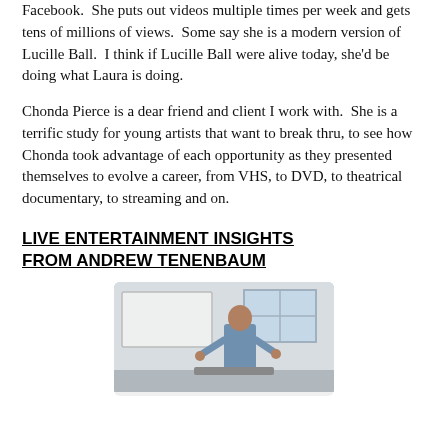Facebook.  She puts out videos multiple times per week and gets tens of millions of views.  Some say she is a modern version of Lucille Ball.  I think if Lucille Ball were alive today, she’d be doing what Laura is doing.
Chonda Pierce is a dear friend and client I work with.  She is a terrific study for young artists that want to break thru, to see how Chonda took advantage of each opportunity as they presented themselves to evolve a career, from VHS, to DVD, to theatrical documentary, to streaming and on.
LIVE ENTERTAINMENT INSIGHTS FROM ANDREW TENENBAUM
[Figure (photo): A person standing in a room, gesturing with hands, with a whiteboard or projection screen visible in the background.]